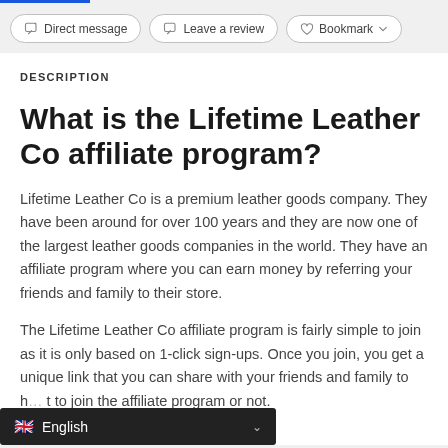[Figure (screenshot): Navigation button row with Direct message, Leave a review, and Bookmark buttons]
DESCRIPTION
What is the Lifetime Leather Co affiliate program?
Lifetime Leather Co is a premium leather goods company. They have been around for over 100 years and they are now one of the largest leather goods companies in the world. They have an affiliate program where you can earn money by referring your friends and family to their store.
The Lifetime Leather Co affiliate program is fairly simple to join as it is only based on 1-click sign-ups. Once you join, you get a unique link that you can share with your friends and family to h… t to join the affiliate program or not.
[Figure (screenshot): Language selector dropdown showing English with UK flag]